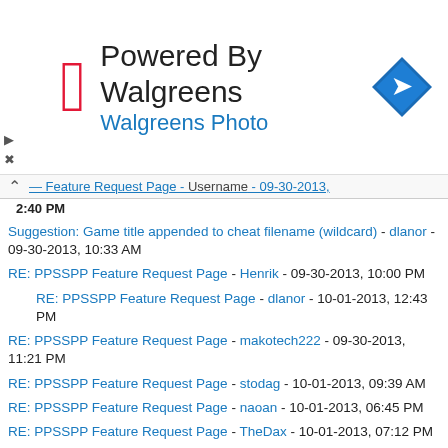[Figure (logo): Walgreens advertisement banner with red W logo, 'Powered By Walgreens' title, 'Walgreens Photo' subtitle, and blue navigation arrow icon]
2:40 PM
Suggestion: Game title appended to cheat filename (wildcard) - dlanor - 09-30-2013, 10:33 AM
RE: PPSSPP Feature Request Page - Henrik - 09-30-2013, 10:00 PM
RE: PPSSPP Feature Request Page - dlanor - 10-01-2013, 12:43 PM
RE: PPSSPP Feature Request Page - makotech222 - 09-30-2013, 11:21 PM
RE: PPSSPP Feature Request Page - stodag - 10-01-2013, 09:39 AM
RE: PPSSPP Feature Request Page - naoan - 10-01-2013, 06:45 PM
RE: PPSSPP Feature Request Page - TheDax - 10-01-2013, 07:12 PM
RE: PPSSPP Feature Request Page - naoan - 10-01-2013, 07:24 PM
RE: PPSSPP Feature Request Page - TheDax - 10-01-2013, 07:35 PM
RE: PPSSPP Feature Request Page - Maverick81PL - 10-01-2013, 07:26 PM
RE: PPSSPP Feature Request Page - makotech222 - 10-01-2013, 09:20 PM
RE: PPSSPP Feature Request Page - dlanor - 10-02-2013, 12:03